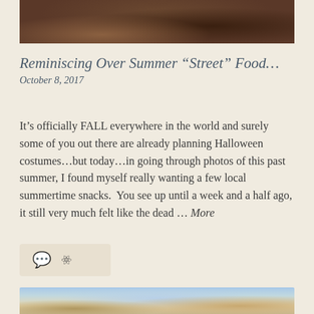[Figure (photo): Close-up photo of a hand holding something small, dark background with brown warm tones]
Reminiscing Over Summer “Street” Food…
October 8, 2017
It’s officially FALL everywhere in the world and surely some of you out there are already planning Halloween costumes…but today…in going through photos of this past summer, I found myself really wanting a few local summertime snacks.  You see up until a week and a half ago, it still very much felt like the dead … More
[Figure (other): Action bar with comment bubble and link icons on a beige background]
[Figure (photo): Partial photo at bottom of page showing sky and landscape, partially visible]